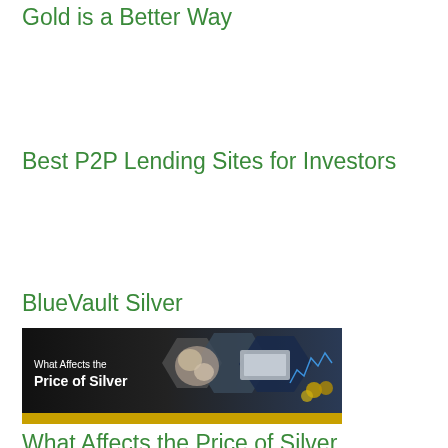Gold is a Better Way
Best P2P Lending Sites for Investors
BlueVault Silver
[Figure (photo): Banner image with dark hexagonal background showing coins and silver bars, with text 'What Affects the Price of Silver', and a gold bar at the bottom.]
What Affects the Price of Silver